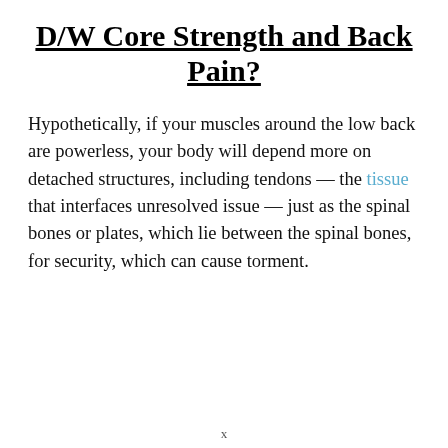D/W Core Strength and Back Pain?
Hypothetically, if your muscles around the low back are powerless, your body will depend more on detached structures, including tendons — the tissue that interfaces unresolved issue — just as the spinal bones or plates, which lie between the spinal bones, for security, which can cause torment.
x